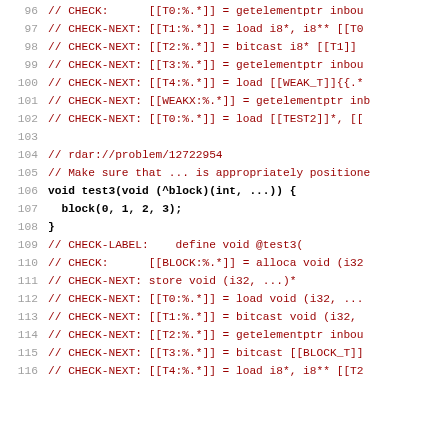Source code listing lines 96-116 showing LLVM IR test checks and a test3 function definition.